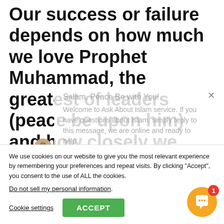Our success or failure depends on how much we love Prophet Muhammad, the greatest of leaders (peace be upon him) and how closely we follow his divinely inspired example.
[Figure (screenshot): Chat overlay popup with greeting 'Salam, Peace Be with You!' and welcome message about Ask About Islam service, with avatar of a person]
We use cookies on our website to give you the most relevant experience by remembering your preferences and repeat visits. By clicking "Accept", you consent to the use of ALL the cookies.
Do not sell my personal information.
Cookie settings
ACCEPT